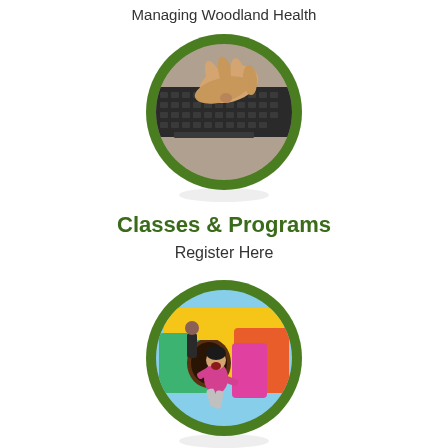Managing Woodland Health
[Figure (photo): Circular framed photo with green border showing hands typing on a laptop keyboard]
Classes & Programs
Register Here
[Figure (photo): Circular framed photo with green border showing a child laughing and sliding out of a colorful inflatable bounce house]